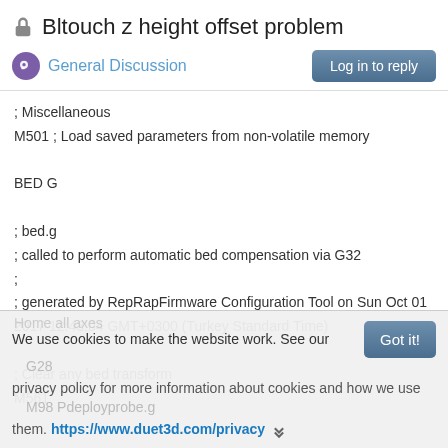Bltouch z height offset problem
General Discussion
; Miscellaneous
M501 ; Load saved parameters from non-volatile memory

BED G

; bed.g
; called to perform automatic bed compensation via G32
;
; generated by RepRapFirmware Configuration Tool on Sun Oct 01 2017 12:43:04 GMT+0300 (Turkey Standard Time)

; Clear any bed transform
M561
We use cookies to make the website work. See our privacy policy for more information about cookies and how we use them. https://www.duet3d.com/privacy